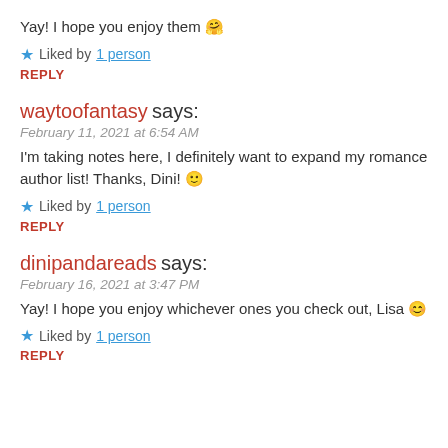Yay! I hope you enjoy them 🤗
★ Liked by 1 person
REPLY
waytoofantasy says:
February 11, 2021 at 6:54 AM
I'm taking notes here, I definitely want to expand my romance author list! Thanks, Dini! 🙂
★ Liked by 1 person
REPLY
dinipandareads says:
February 16, 2021 at 3:47 PM
Yay! I hope you enjoy whichever ones you check out, Lisa 😊
★ Liked by 1 person
REPLY